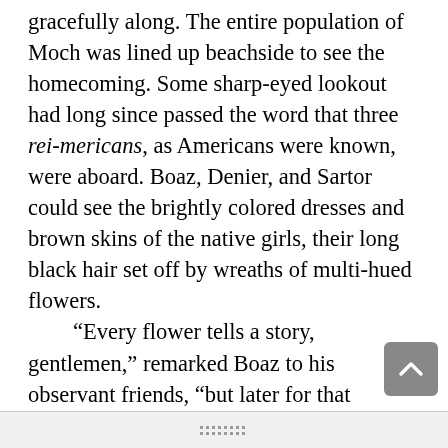gracefully along. The entire population of Moch was lined up beachside to see the homecoming. Some sharp-eyed lookout had long since passed the word that three rei-mericans, as Americans were known, were aboard. Boaz, Denier, and Sartor could see the brightly colored dresses and brown skins of the native girls, their long black hair set off by wreaths of multi-hued flowers.
    “Every flower tells a story, gentlemen,” remarked Boaz to his observant friends, “but later for that lecture. However, I do know two beautiful young women — sisters— I want to introduce you to here on Moch. I think you will agree that they have unusually beautiful names as well.”